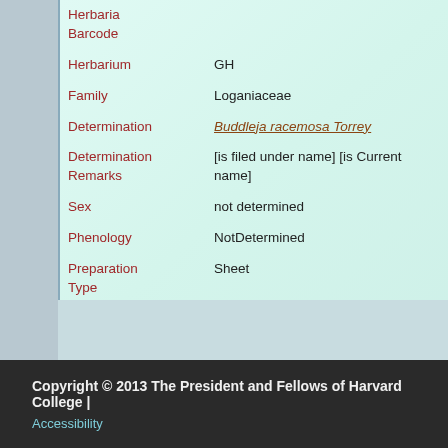| Field | Value |
| --- | --- |
| Herbaria Barcode |  |
| Herbarium | GH |
| Family | Loganiaceae |
| Determination | Buddleja racemosa Torrey |
| Determination Remarks | [is filed under name] [is Current name] |
| Sex | not determined |
| Phenology | NotDetermined |
| Preparation Type | Sheet |
| Preparation Method | Pressed |
| Item Remarks | [mounted with Isotype of Buddleja racemosa var. inca Torrey, Wright 446, 75615] |
Copyright © 2013 The President and Fellows of Harvard College | Accessibility